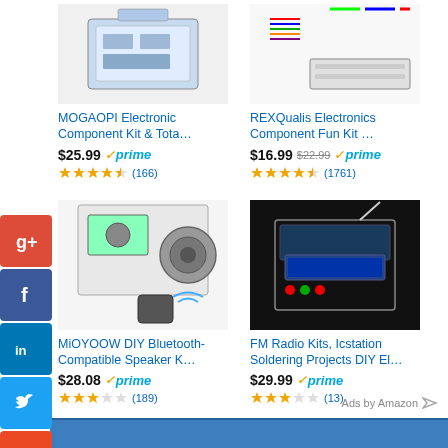[Figure (screenshot): Amazon product listing: MOGAOPI Electronic Component Kit & Tota...]
MOGAOPI Electronic Component Kit & Tota...
$25.99 prime (166 reviews, 4.5 stars)
[Figure (screenshot): Amazon product listing: REXQualis Electronics Component Fun Kit ...]
REXQualis Electronics Component Fun Kit ...
$16.99 $22.99 prime (1761 reviews, 4.5 stars)
[Figure (screenshot): Amazon product listing: MiOYOOW DIY Bluetooth-Compatible Speaker K...]
MiOYOOW DIY Bluetooth-Compatible Speaker K...
$28.08 prime (189 reviews, 4 stars)
[Figure (screenshot): Amazon product listing: FM Radio Kits, Icstation Soldering Projects DIY El...]
FM Radio Kits, Icstation Soldering Projects DIY El...
$29.99 prime (13 reviews, 4 stars)
[Figure (infographic): Social sharing buttons: Google+, Facebook, LinkedIn, Twitter, StumbleUpon]
Ads by Amazon